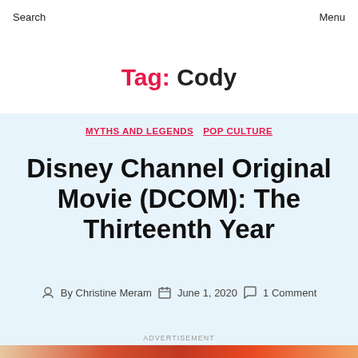Search   Menu
Tag: Cody
MYTHS AND LEGENDS   POP CULTURE
Disney Channel Original Movie (DCOM): The Thirteenth Year
By Christine Meram   June 1, 2020   1 Comment
ADVERTISEMENT